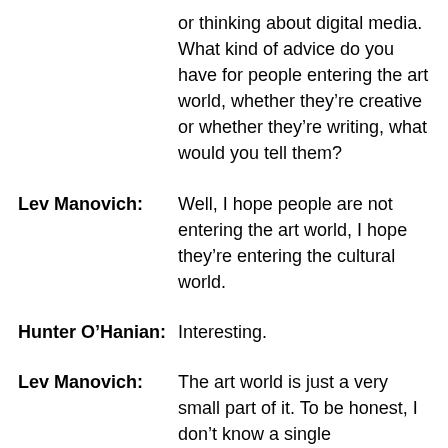or thinking about digital media. What kind of advice do you have for people entering the art world, whether they’re creative or whether they’re writing, what would you tell them?
Lev Manovich: Well, I hope people are not entering the art world, I hope they’re entering the cultural world.
Hunter O’Hanian: Interesting.
Lev Manovich: The art world is just a very small part of it. To be honest, I don’t know a single